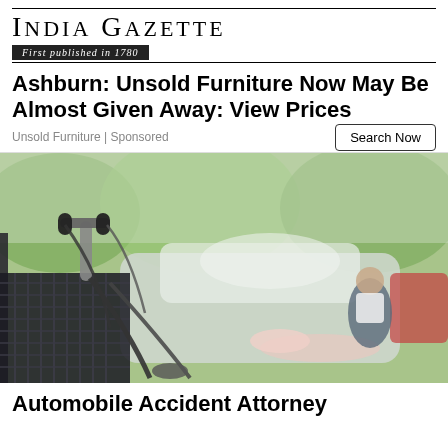INDIA GAZETTE — First published in 1780
Ashburn: Unsold Furniture Now May Be Almost Given Away: View Prices
Unsold Furniture | Sponsored
Search Now
[Figure (photo): A bicycle in the foreground with two people (a man crouching and a woman lying on the ground) near a car in the background, suggesting a road accident scene. Green trees visible in background.]
Automobile Accident Attorney